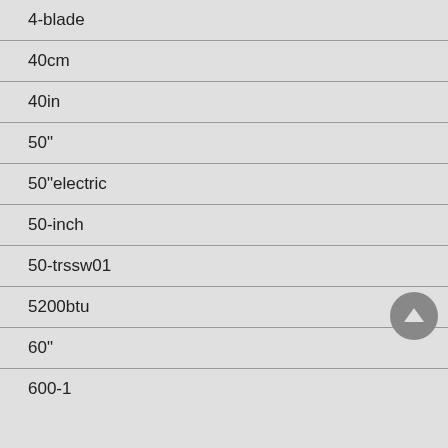4-blade
40cm
40in
50"
50"electric
50-inch
50-trssw01
5200btu
60"
600-1